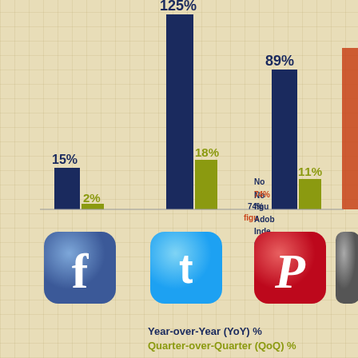[Figure (grouped-bar-chart): Social Media Growth]
Note: 74% figures from Adobe Index. Other claims growth
Year-over-Year (YoY)    Quarter-over-Quarter (QoQ)